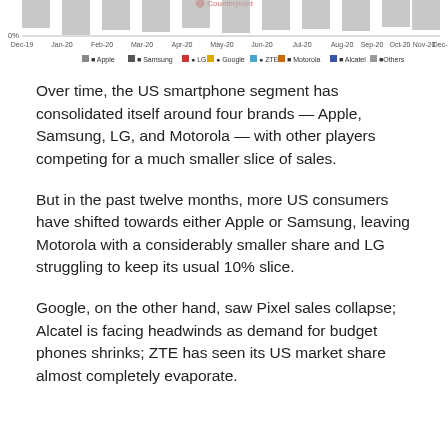[Figure (continuous-plot): Bottom portion of a stacked area/bar chart showing US smartphone market share by brand (Apple, Samsung, LG, Google, ZTE, Motorola, Alcatel, Others) from Dec-19 to Dec-20. Only the 0% label and x-axis tick labels are visible, along with the legend.]
Over time, the US smartphone segment has consolidated itself around four brands — Apple, Samsung, LG, and Motorola — with other players competing for a much smaller slice of sales.
But in the past twelve months, more US consumers have shifted towards either Apple or Samsung, leaving Motorola with a considerably smaller share and LG struggling to keep its usual 10% slice.
Google, on the other hand, saw Pixel sales collapse; Alcatel is facing headwinds as demand for budget phones shrinks; ZTE has seen its US market share almost completely evaporate.